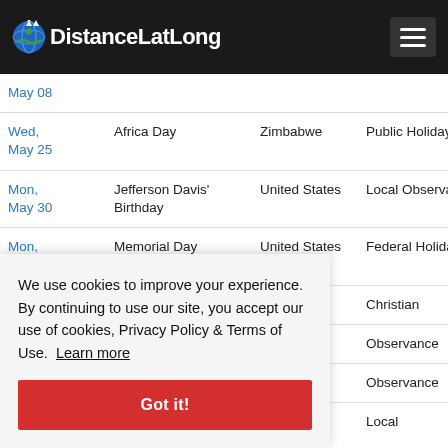DistanceLatLong
| Date | Holiday | Country | Type |
| --- | --- | --- | --- |
| May 08 |  |  |  |
| Wed, May 25 | Africa Day | Zimbabwe | Public Holiday |
| Mon, May 30 | Jefferson Davis' Birthday | United States | Local Observance |
| Mon, May 30 | Memorial Day | United States | Federal Holiday |
| Thu, ... | Ascension Day | United ... | Christian |
| ... | ... | ... | Observance |
| ... | ... | ... | Observance |
| Sun, ... | Harvey Milk Day | United ... | Local |
We use cookies to improve your experience. By continuing to use our site, you accept our use of cookies, Privacy Policy & Terms of Use. Learn more
Got it!